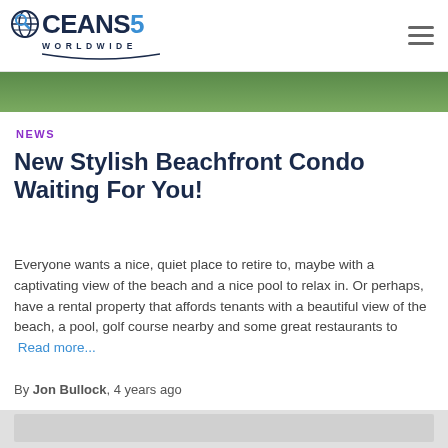OCEANS5 WORLDWIDE
[Figure (photo): Top image strip showing greenery/trees background]
NEWS
New Stylish Beachfront Condo Waiting For You!
Everyone wants a nice, quiet place to retire to, maybe with a captivating view of the beach and a nice pool to relax in. Or perhaps, have a rental property that affords tenants with a beautiful view of the beach, a pool, golf course nearby and some great restaurants to Read more...
By Jon Bullock, 4 years ago
[Figure (photo): Bottom partial image strip, light gray]